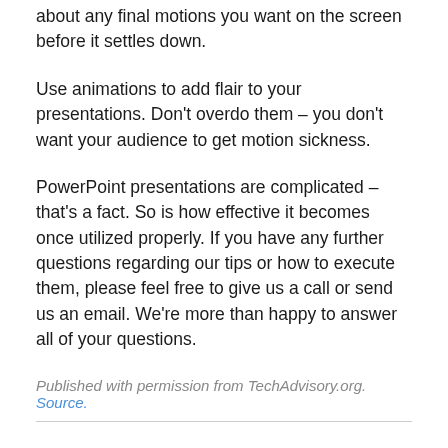about any final motions you want on the screen before it settles down.
Use animations to add flair to your presentations. Don't overdo them – you don't want your audience to get motion sickness.
PowerPoint presentations are complicated – that's a fact. So is how effective it becomes once utilized properly. If you have any further questions regarding our tips or how to execute them, please feel free to give us a call or send us an email. We're more than happy to answer all of your questions.
Published with permission from TechAdvisory.org. Source.